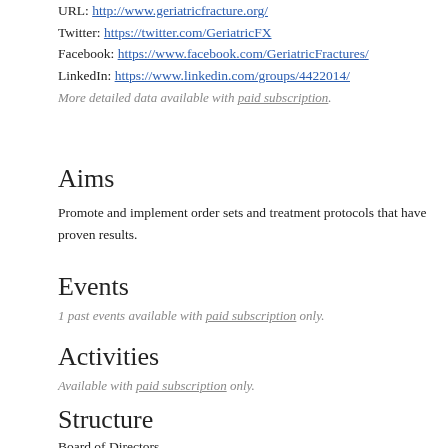URL: http://www.geriatricfracture.org/
Twitter: https://twitter.com/GeriatricFX
Facebook: https://www.facebook.com/GeriatricFractures/
LinkedIn: https://www.linkedin.com/groups/4422014/
More detailed data available with paid subscription.
Aims
Promote and implement order sets and treatment protocols that have proven results.
Events
1 past events available with paid subscription only.
Activities
Available with paid subscription only.
Structure
Board of Directors